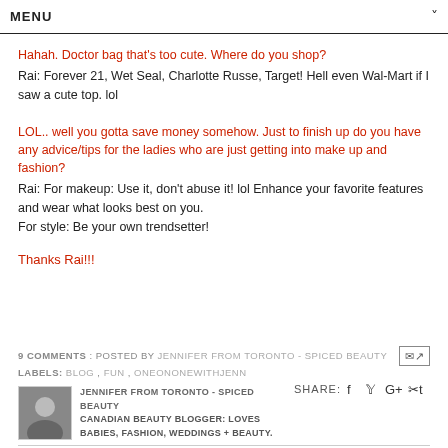MENU
Hahah. Doctor bag that's too cute. Where do you shop?
Rai: Forever 21, Wet Seal, Charlotte Russe, Target! Hell even Wal-Mart if I saw a cute top. lol
LOL.. well you gotta save money somehow. Just to finish up do you have any advice/tips for the ladies who are just getting into make up and fashion?
Rai: For makeup: Use it, don't abuse it! lol Enhance your favorite features and wear what looks best on you.
For style: Be your own trendsetter!
Thanks Rai!!!
9 COMMENTS : POSTED BY JENNIFER FROM TORONTO - SPICED BEAUTY
LABELS: BLOG , FUN , ONEONONEWITHJENN
SHARE:
JENNIFER FROM TORONTO - SPICED BEAUTY
CANADIAN BEAUTY BLOGGER: LOVES BABIES, FASHION, WEDDINGS + BEAUTY.